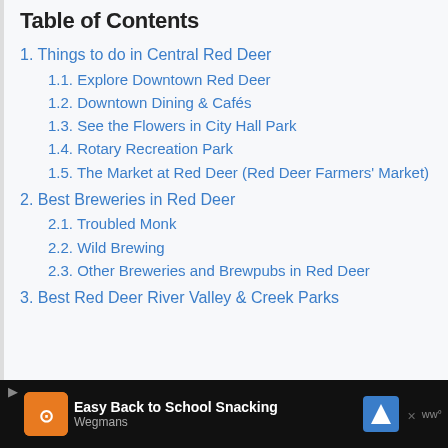Table of Contents
1. Things to do in Central Red Deer
1.1. Explore Downtown Red Deer
1.2. Downtown Dining & Cafés
1.3. See the Flowers in City Hall Park
1.4. Rotary Recreation Park
1.5. The Market at Red Deer (Red Deer Farmers' Market)
2. Best Breweries in Red Deer
2.1. Troubled Monk
2.2. Wild Brewing
2.3. Other Breweries and Brewpubs in Red Deer
3. Best Red Deer River Valley & Creek Parks
[Figure (other): Advertisement banner: Easy Back to School Snacking - Wegmans]